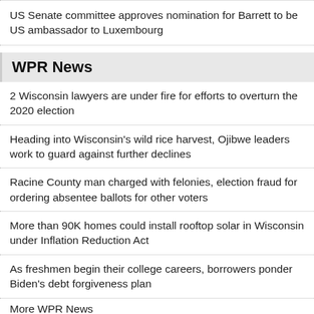US Senate committee approves nomination for Barrett to be US ambassador to Luxembourg
WPR News
2 Wisconsin lawyers are under fire for efforts to overturn the 2020 election
Heading into Wisconsin's wild rice harvest, Ojibwe leaders work to guard against further declines
Racine County man charged with felonies, election fraud for ordering absentee ballots for other voters
More than 90K homes could install rooftop solar in Wisconsin under Inflation Reduction Act
As freshmen begin their college careers, borrowers ponder Biden's debt forgiveness plan
More WPR News
SPONSORED BY:
[Figure (photo): Advertisement banner with a person's silhouette photo and a close button marked with an X]